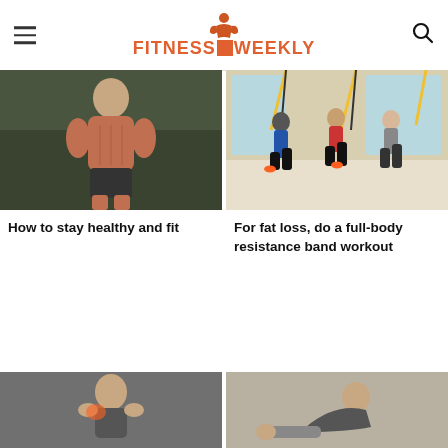FITNESS WEEKLY
[Figure (photo): Muscular man posing in gym]
[Figure (photo): Group of people doing TRX resistance band workout in gym]
How to stay healthy and fit
For fat loss, do a full-body resistance band workout
[Figure (photo): Person holding shoulder in pain]
[Figure (photo): Person doing sit-ups or core exercise]